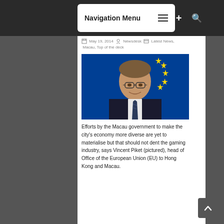Navigation Menu
May 19, 2014  Newsdesk  Latest News, Macau, Top of the deck
[Figure (photo): Man in suit and glasses smiling, standing in front of a European Union flag with gold stars on blue background — Vincent Piket, head of Office of the European Union (EU) to Hong Kong and Macau]
Efforts by the Macau government to make the city's economy more diverse are yet to materialise but that should not dent the gaming industry, says Vincent Piket (pictured), head of Office of the European Union (EU) to Hong Kong and Macau.